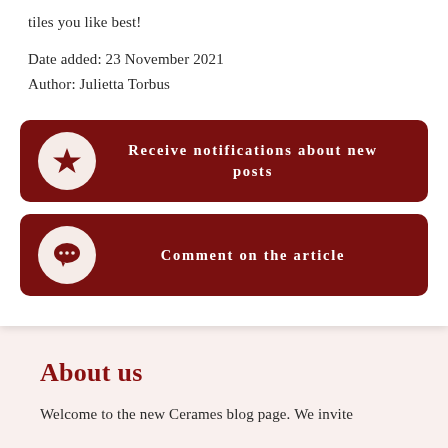tiles you like best!
Date added: 23 November 2021
Author: Julietta Torbus
[Figure (infographic): Dark red button with star icon and text 'Receive notifications about new posts']
[Figure (infographic): Dark red button with comment/chat icon and text 'Comment on the article']
About us
Welcome to the new Cerames blog page. We invite